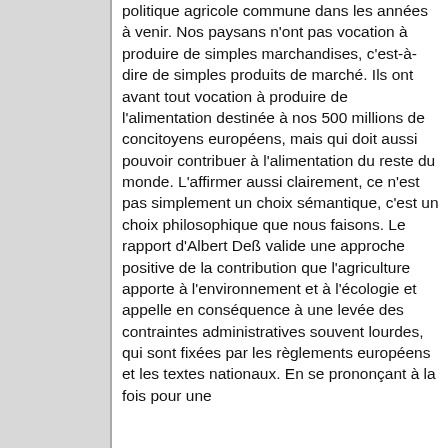politique agricole commune dans les années à venir. Nos paysans n'ont pas vocation à produire de simples marchandises, c'est-à-dire de simples produits de marché. Ils ont avant tout vocation à produire de l'alimentation destinée à nos 500 millions de concitoyens européens, mais qui doit aussi pouvoir contribuer à l'alimentation du reste du monde. L'affirmer aussi clairement, ce n'est pas simplement un choix sémantique, c'est un choix philosophique que nous faisons. Le rapport d'Albert Deß valide une approche positive de la contribution que l'agriculture apporte à l'environnement et à l'écologie et appelle en conséquence à une levée des contraintes administratives souvent lourdes, qui sont fixées par les règlements européens et les textes nationaux. En se prononçant à la fois pour une